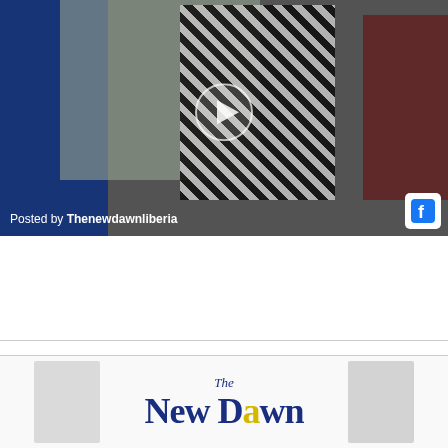[Figure (screenshot): Facebook video embed showing people with clothing items. Text overlay reads 'Posted by Thenewdawnliberia' with a Facebook icon in the bottom right. A play button is visible in the center.]
[Figure (logo): The New Dawn newspaper logo with 'The' in italic above large bold 'New Dawn' text in dark blue, flanked by two gray rectangular image placeholders.]